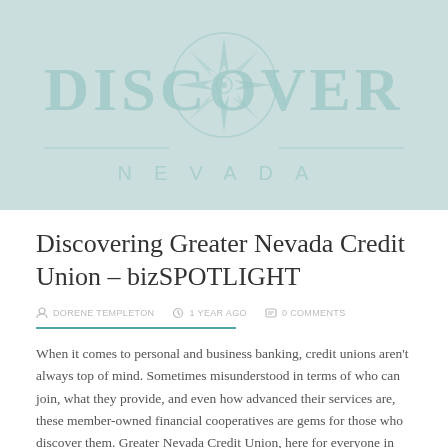[Figure (logo): Discover Nevada logo — large stylized text 'DISCOVER' with a compass rose graphic above and 'NEVADA' spelled out with wide letter-spacing below, all in a muted teal/seafoam color on a light teal background]
Discovering Greater Nevada Credit Union – bizSPOTLIGHT
DORENE TEMPLETON   1 YEAR AGO   0 COMMENTS
When it comes to personal and business banking, credit unions aren't always top of mind. Sometimes misunderstood in terms of who can join, what they provide, and even how advanced their services are, these member-owned financial cooperatives are gems for those who discover them. Greater Nevada Credit Union, here for everyone in Nevada, is a good example of how...